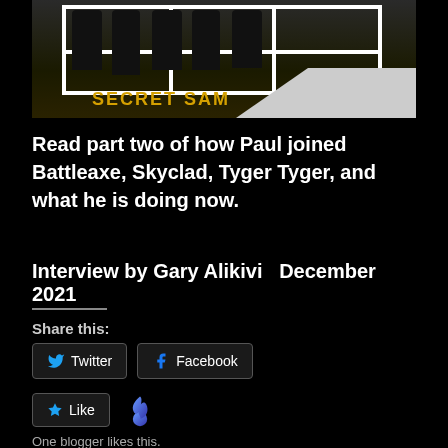[Figure (photo): Band photo showing musicians behind a white cage/scaffold structure with 'SECRET SAM' text in yellow/gold lettering at the bottom, with a white ramp visible on the right side. Dark background.]
Read part two of how Paul joined Battleaxe, Skyclad, Tyger Tyger, and what he is doing now.
Interview by Gary Alikivi  December 2021
Share this:
Twitter
Facebook
Like
One blogger likes this.